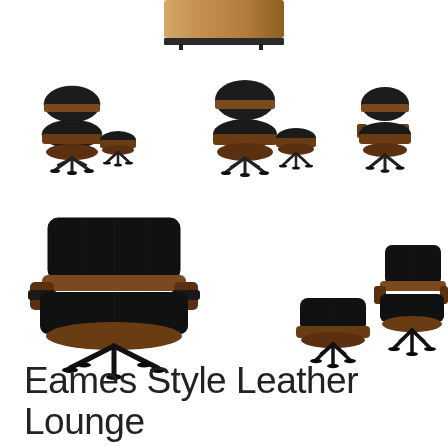[Figure (photo): Partial top view of a wooden table or chair shell edge, cropped at top of page]
[Figure (photo): Three groups of Eames-style lounge chair and ottoman sets shown from side angles in walnut/black leather]
[Figure (photo): Two groups: one large Eames-style lounge chair front view, one ottoman and chair set from different angle]
Eames Style Leather Lounge Chair and Ottoman Italian